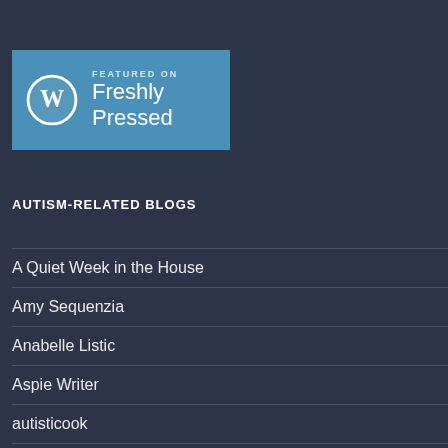[Figure (logo): WordPress 'Featured on Freshly Pressed' badge with WordPress logo on blue background]
AUTISM-RELATED BLOGS
A Quiet Week in the House
Amy Sequenzia
Anabelle Listic
Aspie Writer
autisticook
catastraspie
Emma's Hope Book